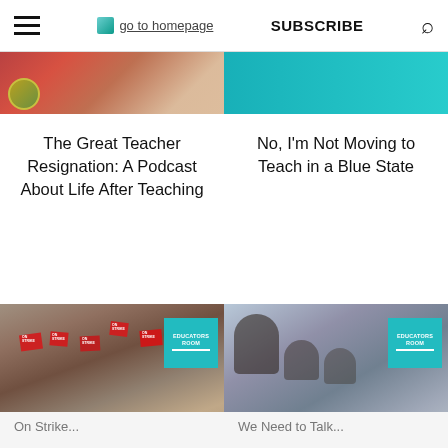go to homepage | SUBSCRIBE
[Figure (photo): Partial photo of a person in red and a circular green-gold badge on the left; teal/cyan background on the right]
The Great Teacher Resignation: A Podcast About Life After Teaching
No, I'm Not Moving to Teach in a Blue State
[Figure (photo): Crowd of protesters holding 'On Strike' signs with an Educators Room badge overlay in teal]
[Figure (photo): Teacher leaning over students working at a desk with an Educators Room badge overlay in teal]
On Strike...
We Need to Talk...